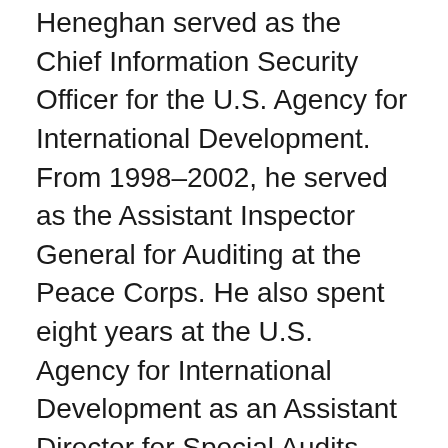Heneghan served as the Chief Information Security Officer for the U.S. Agency for International Development. From 1998–2002, he served as the Assistant Inspector General for Auditing at the Peace Corps. He also spent eight years at the U.S. Agency for International Development as an Assistant Director for Special Audits, and worked in progressively responsible audit positions at the Environmental Protection Agency and the General Services Administration. Mr. Heneghan holds a Master of Science degree in information systems with an emphasis on database design and security from the University of Maryland, and a Bachelor of Science degree in business administration and accounting from the University of